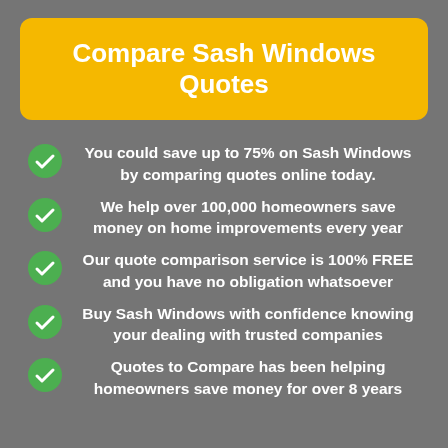Compare Sash Windows Quotes
You could save up to 75% on Sash Windows by comparing quotes online today.
We help over 100,000 homeowners save money on home improvements every year
Our quote comparison service is 100% FREE and you have no obligation whatsoever
Buy Sash Windows with confidence knowing your dealing with trusted companies
Quotes to Compare has been helping homeowners save money for over 8 years